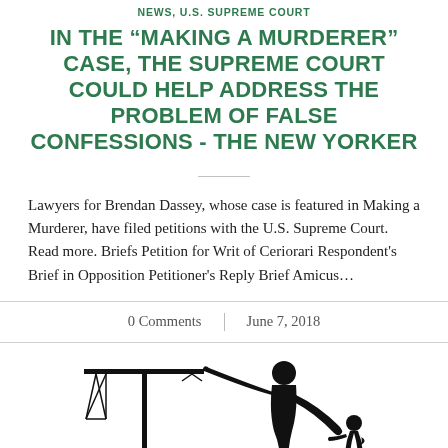NEWS, U.S. SUPREME COURT
IN THE “MAKING A MURDERER” CASE, THE SUPREME COURT COULD HELP ADDRESS THE PROBLEM OF FALSE CONFESSIONS - THE NEW YORKER
Lawyers for Brendan Dassey, whose case is featured in Making a Murderer, have filed petitions with the U.S. Supreme Court. Read more. Briefs Petition for Writ of Ceriorari Respondent’s Brief in Opposition Petitioner’s Reply Brief Amicus…
0 Comments | June 7, 2018
[Figure (illustration): Black silhouette illustration of a scales of justice figure with a human-like figure pulling or interacting with the scales, rendered in a graphic art style.]